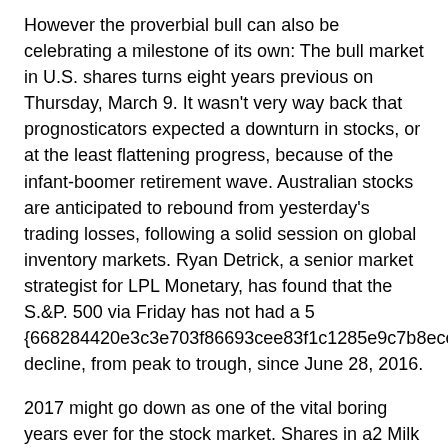However the proverbial bull can also be celebrating a milestone of its own: The bull market in U.S. shares turns eight years previous on Thursday, March 9. It wasn't very way back that prognosticators expected a downturn in stocks, or at the least flattening progress, because of the infant-boomer retirement wave. Australian stocks are anticipated to rebound from yesterday's trading losses, following a solid session on global inventory markets. Ryan Detrick, a senior market strategist for LPL Monetary, has found that the S.&P. 500 via Friday has not had a 5 {668284420e3c3e703f86693cee83f1c1285e9c7b8ecc41c13b37eea0ef4cf441} decline, from peak to trough, since June 28, 2016.
2017 might go down as one of the vital boring years ever for the stock market. Shares in a2 Milk have surged after it booked robust income and profit growth in the first four months of the financial yr. In addition, more recent economic